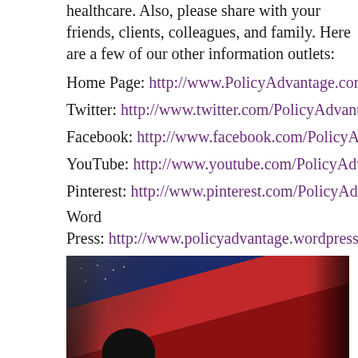healthcare. Also, please share with your friends, clients, colleagues, and family. Here are a few of our other information outlets:
Home Page: http://www.PolicyAdvantage.com
Twitter: http://www.twitter.com/PolicyAdvantage
Facebook: http://www.facebook.com/PolicyAdvantage
YouTube: http://www.youtube.com/PolicyAdvantage
Pinterest: http://www.pinterest.com/PolicyAdvantage
Word Press: http://www.policyadvantage.wordpress.com
[Figure (photo): Photo of a stethoscope resting on an American flag and red fabric, suggesting healthcare policy or insurance]